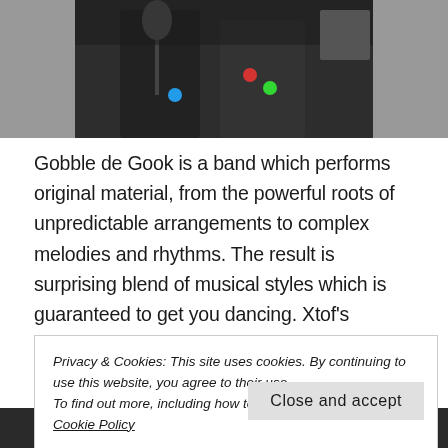[Figure (photo): Photo of band members performing on stage with microphone stand and stage lights visible]
Gobble de Gook is a band which performs original material, from the powerful roots of unpredictable arrangements to complex melodies and rhythms. The result is surprising blend of musical styles which is guaranteed to get you dancing. Xtof's influences range from Afro-Cuban, Indian, Jazz, Rock and obviously French music. It is these influences which characterise the unique atmosphere of Gobble de Gook. “Be ready to enjoy and prepare yourself to join the colourful and
Privacy & Cookies: This site uses cookies. By continuing to use this website, you agree to their use.
To find out more, including how to control cookies, see here: Cookie Policy
Close and accept
[Figure (logo): WordPress logo at bottom of page]